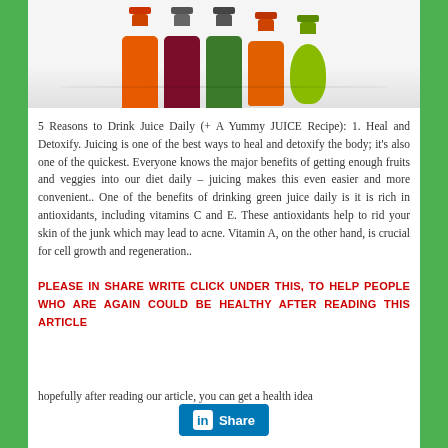[Figure (photo): Photo of colorful juice bottles (orange, dark red, green, orange, green apple) lined up on a white surface, viewed from above/side angle]
5 Reasons to Drink Juice Daily (+ A Yummy JUICE Recipe): 1. Heal and Detoxify. Juicing is one of the best ways to heal and detoxify the body; it’s also one of the quickest. Everyone knows the major benefits of getting enough fruits and veggies into our diet daily – juicing makes this even easier and more convenient.. One of the benefits of drinking green juice daily is it is rich in antioxidants, including vitamins C and E. These antioxidants help to rid your skin of the junk which may lead to acne. Vitamin A, on the other hand, is crucial for cell growth and regeneration..
PLEASE IN SHARE WRITE CLICK UNDER THIS, TO HELP PEOPLE WHO ARE AGAIN COULD BE HEALTHY AFTER READING THIS ARTICLE
hopefully after reading our article, you can get a health idea
[Figure (other): LinkedIn Share button - blue rounded rectangle button with LinkedIn 'in' logo icon and 'Share' text in white]